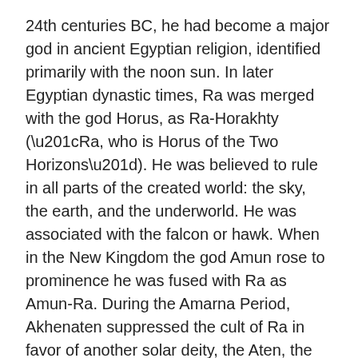24th centuries BC, he had become a major god in ancient Egyptian religion, identified primarily with the noon sun. In later Egyptian dynastic times, Ra was merged with the god Horus, as Ra-Horakhty (“Ra, who is Horus of the Two Horizons”). He was believed to rule in all parts of the created world: the sky, the earth, and the underworld. He was associated with the falcon or hawk. When in the New Kingdom the god Amun rose to prominence he was fused with Ra as Amun-Ra. During the Amarna Period, Akhenaten suppressed the cult of Ra in favor of another solar deity, the Aten, the deified solar disc, but after the death of Akhenaten the cult of Ra was restored. This coin comes with the original mint box and numbered certificate of authenticity. The item “RA SUN GOD Eagle Head Gods Of The World 3 Oz Silver Coin 20$ Cook Islands 2018” is in sale since Monday, October 14, 2019. This item is in the category “Coins & Paper Money\Coins\ World\Australia & Oceania\South Pacific”. The seller is “silvertreasure58”.